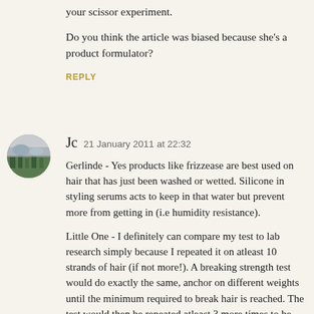your scissor experiment.
Do you think the article was biased because she's a product formulator?
REPLY
[Figure (photo): Round avatar photo showing a landscape with trees and a grey sky]
Jc  21 January 2011 at 22:32
Gerlinde - Yes products like frizzease are best used on hair that has just been washed or wetted. Silicone in styling serums acts to keep in that water but prevent more from getting in (i.e humidity resistance).
Little One - I definitely can compare my test to lab research simply because I repeated it on atleast 10 strands of hair (if not more!). A breaking strength test would do exactly the same, anchor on different weights until the minimum required to break hair is reached. The test would then be repeated atleast 3 more times to be statistically significant. A tensile test is something I cannot do at home though, this would involve recording forces and